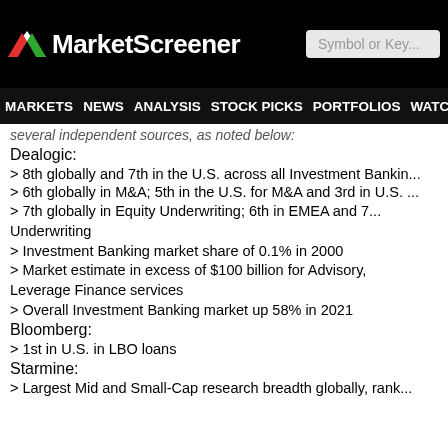MarketScreener | Symbol or Key...
MARKETS NEWS ANALYSIS STOCK PICKS PORTFOLIOS WATCHLI...
several independent sources, as noted below:
Dealogic:
> 8th globally and 7th in the U.S. across all Investment Banking...
> 6th globally in M&A; 5th in the U.S. for M&A and 3rd in U.S....
> 7th globally in Equity Underwriting; 6th in EMEA and 7... Underwriting
> Investment Banking market share of 0.1% in 2000
> Market estimate in excess of $100 billion for Advisory, Leverage Finance services
> Overall Investment Banking market up 58% in 2021
Bloomberg:
> 1st in U.S. in LBO loans
Starmine:
> Largest Mid and Small-Cap research breadth globally, rank...